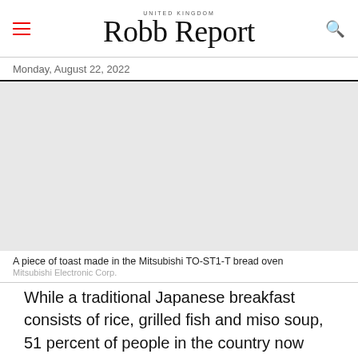UNITED KINGDOM Robb Report
Monday, August 22, 2022
[Figure (photo): A piece of toast made in the Mitsubishi TO-ST1-T bread oven (light grey/beige placeholder image area)]
A piece of toast made in the Mitsubishi TO-ST1-T bread oven
Mitsubishi Electronic Corp.
While a traditional Japanese breakfast consists of rice, grilled fish and miso soup, 51 percent of people in the country now prefer to eat toast each morning, according to a recent study. This